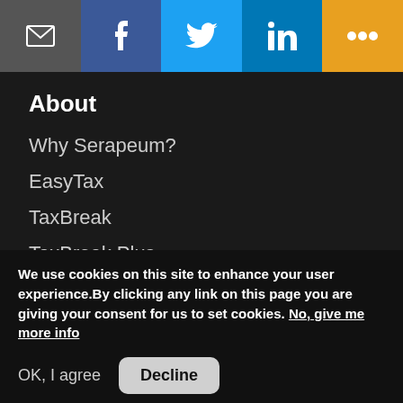[Figure (infographic): Social share bar with 5 buttons: email (dark grey), Facebook (blue), Twitter (light blue), LinkedIn (dark blue), More (orange), each with icons]
About
Why Serapeum?
EasyTax
TaxBreak
TaxBreak Plus
Explore
Blog
Free consultations
We use cookies on this site to enhance your user experience.By clicking any link on this page you are giving your consent for us to set cookies. No, give me more info
OK, I agree   Decline